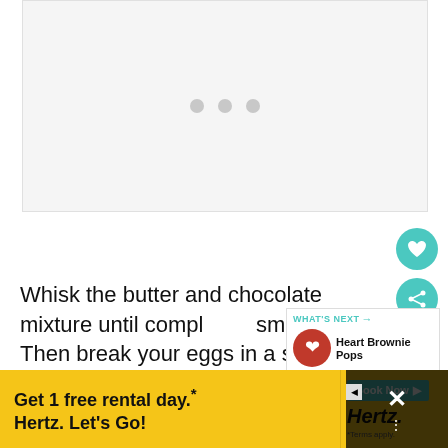[Figure (other): Image placeholder with three gray dots indicating loading state against light gray background]
Whisk the butter and chocolate mixture until completely smooth.  Then break your eggs in a separate bowl and add to the mixture.  Whip well.
[Figure (infographic): What's Next panel showing Heart Brownie Pops with circular thumbnail]
[Figure (infographic): Advertisement banner: Get 1 free rental day. Hertz. Let's Go! Book Now. Terms apply.]